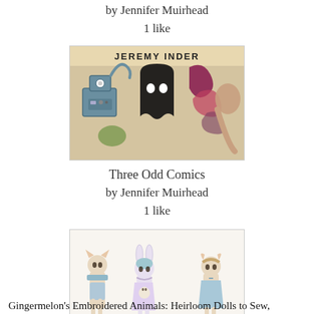by Jennifer Muirhead
1 like
[Figure (illustration): Comic book style illustration showing a robot on the left and a black ghost with white eyes on the right, with text 'JEREMY INDER' at the top]
Three Odd Comics
by Jennifer Muirhead
1 like
[Figure (photo): Photo of three handmade fabric animal dolls dressed in pastel clothing, posing together against a white background]
Gingermelon's Embroidered Animals: Heirloom Dolls to Sew,